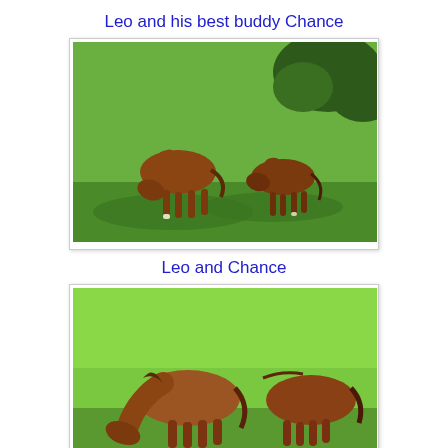Leo and his best buddy Chance
[Figure (photo): Two brown horses grazing in a green pasture with trees in the background. One horse on the left is larger, the other on the right is smaller. Lush green grass covers the field.]
Leo and Chance
[Figure (photo): Two brown horses grazing closely together in a bright green grassy field. The horse on the left has its head lowered to eat grass, and the horse on the right is partially visible.]